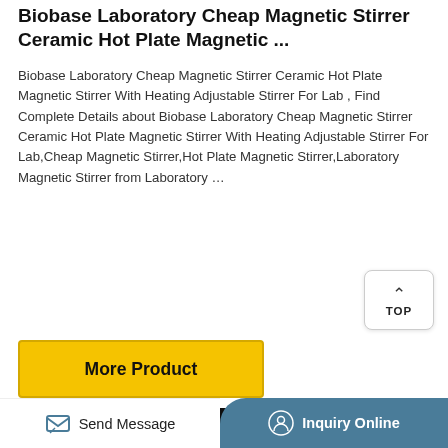Biobase Laboratory Cheap Magnetic Stirrer Ceramic Hot Plate Magnetic ...
Biobase Laboratory Cheap Magnetic Stirrer Ceramic Hot Plate Magnetic Stirrer With Heating Adjustable Stirrer For Lab , Find Complete Details about Biobase Laboratory Cheap Magnetic Stirrer Ceramic Hot Plate Magnetic Stirrer With Heating Adjustable Stirrer For Lab,Cheap Magnetic Stirrer,Hot Plate Magnetic Stirrer,Laboratory Magnetic Stirrer from Laboratory ...
[Figure (screenshot): Yellow 'More Product' button with dark border]
[Figure (photo): Product image area with light blue-gray background and a dark/black rectangular product photo]
Send Message | Inquiry Online